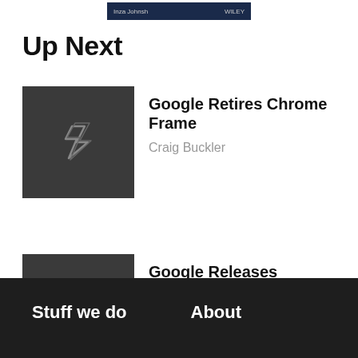[Figure (screenshot): Top banner with book cover thumbnail showing author name and WILEY text on dark blue background]
Up Next
Google Retires Chrome Frame — Craig Buckler
Google Releases Chrome 9 — Craig Buckler
Stuff we do   About